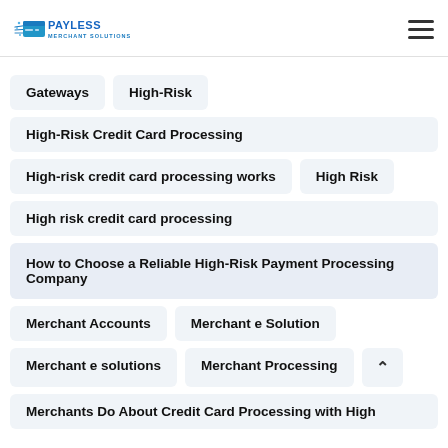Payless Merchant Solutions
Gateways
High-Risk
High-Risk Credit Card Processing
High-risk credit card processing works
High Risk
High risk credit card processing
How to Choose a Reliable High-Risk Payment Processing Company
Merchant Accounts
Merchant e Solution
Merchant e solutions
Merchant Processing
Merchants Do About Credit Card Processing with High